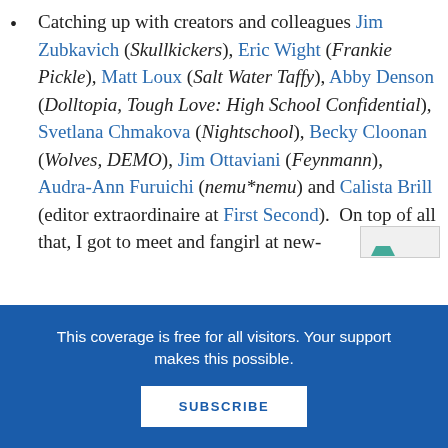Catching up with creators and colleagues Jim Zubkavich (Skullkickers), Eric Wight (Frankie Pickle), Matt Loux (Salt Water Taffy), Abby Denson (Dolltopia, Tough Love: High School Confidential), Svetlana Chmakova (Nightschool), Becky Cloonan (Wolves, DEMO), Jim Ottaviani (Feynmann), Audra-Ann Furuichi (nemu*nemu) and Calista Brill (editor extraordinaire at First Second). On top of all that, I got to meet and fangirl at new-
This coverage is free for all visitors. Your support makes this possible.
SUBSCRIBE